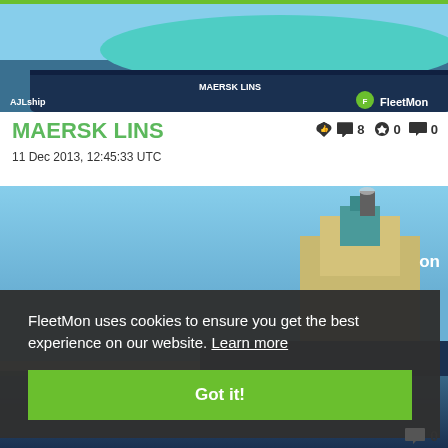[Figure (photo): Ship photo showing the bow of Maersk Lins vessel with teal hull against water, with AJLship watermark and FleetMon logo overlay]
MAERSK LINS
11 Dec 2013, 12:45:33 UTC
[Figure (photo): Second photo of Maersk Lins ship showing the superstructure and funnel against blue sky with cookie consent banner overlay]
FleetMon uses cookies to ensure you get the best experience on our website. Learn more
Got it!